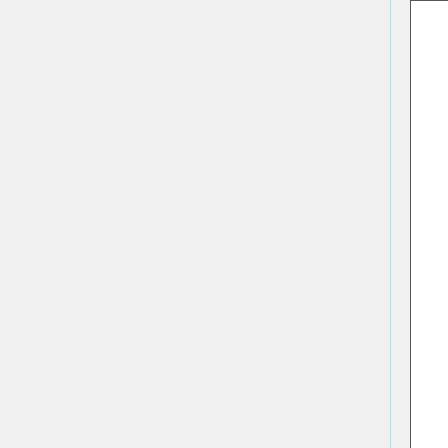| Name | Description | Notes |
| --- | --- | --- |
| Leeser | OT only, conf reflects this. Loops back to Genesis, plenty extraneous UTF8 control characters, abuses foot notes as secondary versification scheme (e.g. Hos 1:10-11 and 2:1) | Extraneous control characters GS and exposed menu GS |
| MorphGNT | Known bad, do not test |  |
| Noyes | Partial OT, complete NT. About needs increased accuracy (re "italics") UTF8 problem in Amos | Display problems superscript control characters GS. P... |